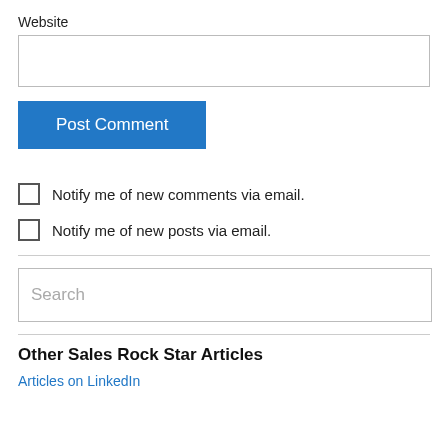Website
Post Comment
Notify me of new comments via email.
Notify me of new posts via email.
Search
Other Sales Rock Star Articles
Articles on LinkedIn